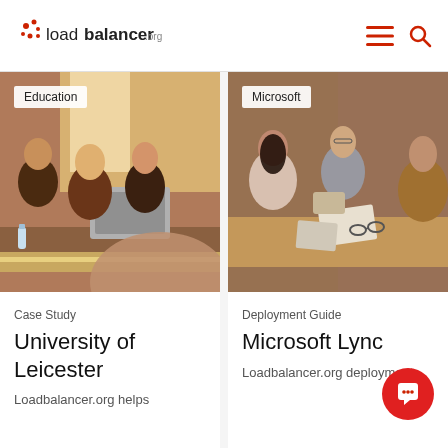loadbalancer.org
[Figure (photo): Group of students/people gathered around a laptop in a bright workspace with large windows. Category badge: Education.]
Case Study
University of Leicester
Loadbalancer.org helps
[Figure (photo): Group of business professionals collaborating at a meeting table with papers and glasses. Category badge: Microsoft.]
Deployment Guide
Microsoft Lync
Loadbalancer.org deployment